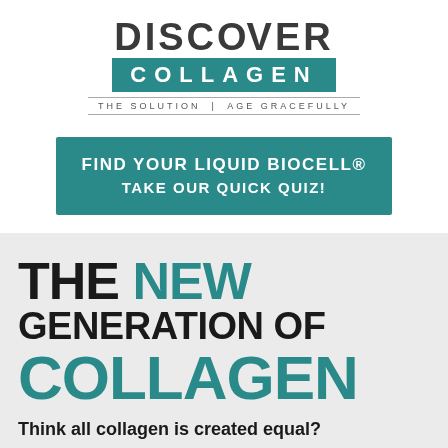[Figure (logo): Discover Collagen brand logo with teal background on COLLAGEN text and tagline 'THE SOLUTION | AGE GRACEFULLY']
FIND YOUR LIQUID BIOCELL® TAKE OUR QUICK QUIZ!
THE NEW GENERATION OF COLLAGEN
Think all collagen is created equal?